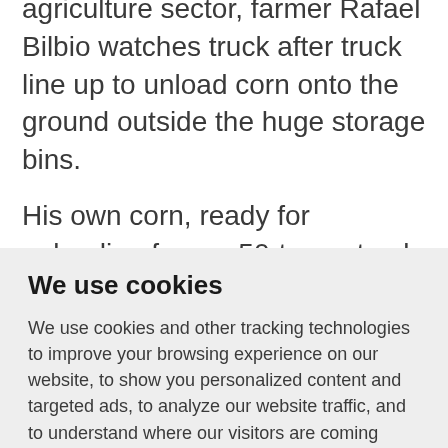agriculture sector, farmer Rafael Bilbio watches truck after truck line up to unload corn onto the ground outside the huge storage bins.
His own corn, ready for unloading from a 50-tonne truck that has just pulled in, is destined to join the pile that has reached 65 feet high, as the bins remain stuffed
We use cookies
We use cookies and other tracking technologies to improve your browsing experience on our website, to show you personalized content and targeted ads, to analyze our website traffic, and to understand where our visitors are coming from.